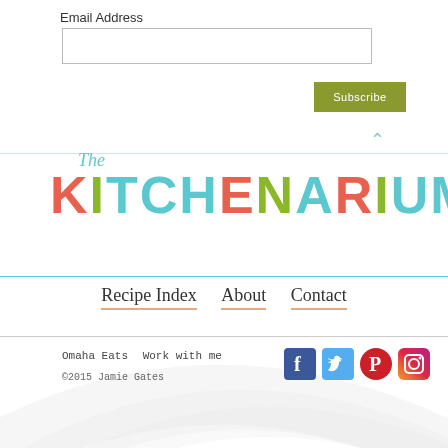Email Address
[Figure (screenshot): Email input text field, empty, with border]
[Figure (screenshot): Subscribe button, olive/green color]
[Figure (logo): The Kitchenarium logo with colorful letters]
Recipe Index
About
Contact
Omaha Eats   Work with me
©2015 Jamie Gates
[Figure (other): Social media icons: Facebook, Twitter, Pinterest, Instagram]